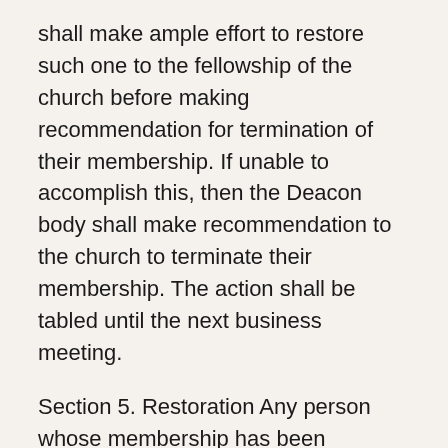shall make ample effort to restore such one to the fellowship of the church before making recommendation for termination of their membership. If unable to accomplish this, then the Deacon body shall make recommendation to the church to terminate their membership. The action shall be tabled until the next business meeting.
Section 5. Restoration Any person whose membership has been terminated for any offense may be restored by a vote of the church, upon evidence of repentance and reformation.
ARTICLE VII – Control and Management
The control, direction, and management of the